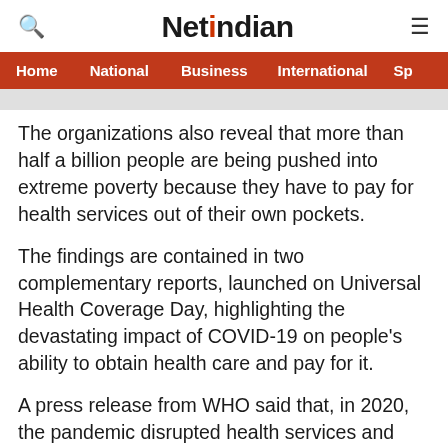NetIndian
Home | National | Business | International | Sp
The organizations also reveal that more than half a billion people are being pushed into extreme poverty because they have to pay for health services out of their own pockets.
The findings are contained in two complementary reports, launched on Universal Health Coverage Day, highlighting the devastating impact of COVID-19 on people's ability to obtain health care and pay for it.
A press release from WHO said that, in 2020, the pandemic disrupted health services and stretched countries' health systems beyond their limits as they struggled to deal with the impact of COVID-19. As a